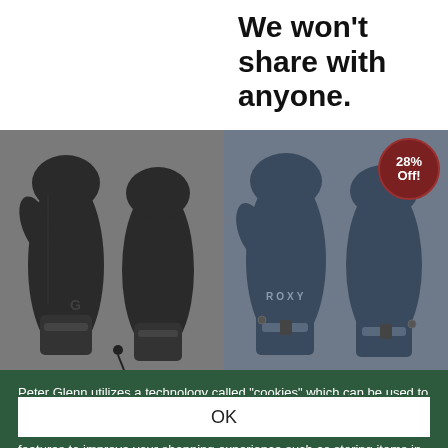We won't share with anyone.
[Figure (photo): Four ski/snowboard mittens shown front and back. Left pair: black Burton-style mittens with a small G logo. Right pair: dark navy Roxy mittens with ROXY text on the front. A '28% Off!' discount badge is in the top right corner.]
Peter Glenn utilizes a technology called "cookies" which can be used to provide you with tailored information. Our cookies do not contain any personal identification information, but they do enable us to provide features to improve your shopping experience such as storing items in your shopping cart between visits. View our Cookie Policy »
OK